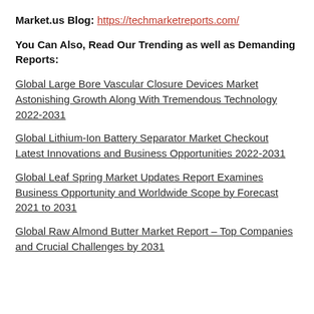Market.us Blog: https://techmarketreports.com/
You Can Also, Read Our Trending as well as Demanding Reports:
Global Large Bore Vascular Closure Devices Market Astonishing Growth Along With Tremendous Technology 2022-2031
Global Lithium-Ion Battery Separator Market Checkout Latest Innovations and Business Opportunities 2022-2031
Global Leaf Spring Market Updates Report Examines Business Opportunity and Worldwide Scope by Forecast 2021 to 2031
Global Raw Almond Butter Market Report – Top Companies and Crucial Challenges by 2031